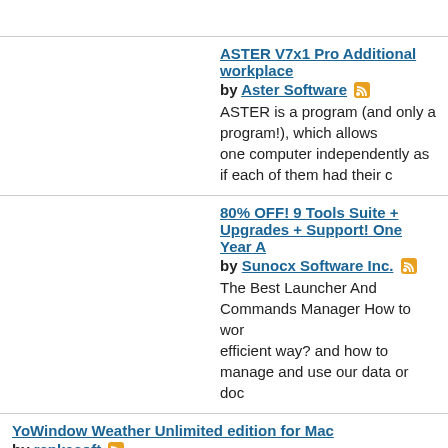ASTER V7x1 Pro Additional workplace by Aster Software
ASTER is a program (and only a program!), which allows one computer independently as if each of them had their c
80% OFF! 9 Tools Suite + Upgrades + Support! One Year A by Sunocx Software Inc.
The Best Launcher And Commands Manager How to wor efficient way? and how to manage and use our data or doc
YoWindow Weather Unlimited edition for Mac by repkasoft
YoWindow - - - - - YoWindow 4 ? ...
YoWindow Weather Unlimited edition by repkasoft
YoWindow - - - - - YoWindow 4 ? ...
Winter Night 3D Screensaver PC License by Avanquest Software
Feel the real magic of winter season!